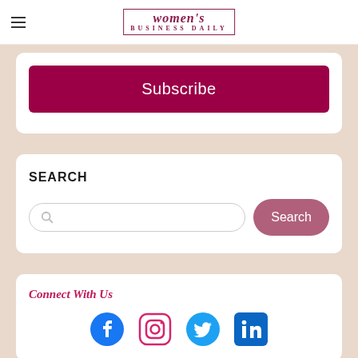women's BUSINESS DAILY
Subscribe
SEARCH
Search
Connect With Us
[Figure (logo): Facebook, Instagram, Twitter, LinkedIn social media icons]